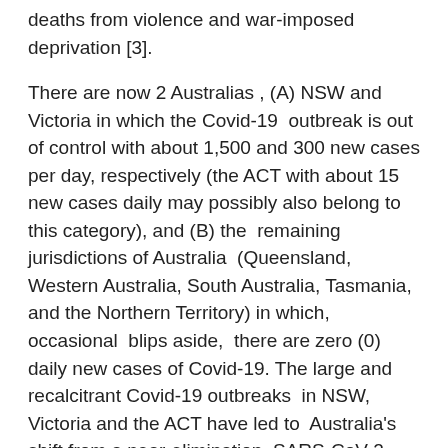deaths from violence and war-imposed deprivation [3].
There are now 2 Australias , (A) NSW and Victoria in which the Covid-19 outbreak is out of control with about 1,500 and 300 new cases per day, respectively (the ACT with about 15 new cases daily may possibly also belong to this category), and (B) the remaining jurisdictions of Australia (Queensland, Western Australia, South Australia, Tasmania, and the Northern Territory) in which, occasional blips aside, there are zero (0) daily new cases of Covid-19. The large and recalcitrant Covid-19 outbreaks in NSW, Victoria and the ACT have led to Australia's shift from a near-elimination, SARS-CoV-2 suppression strategy to vaccination-led control of Covid-19.